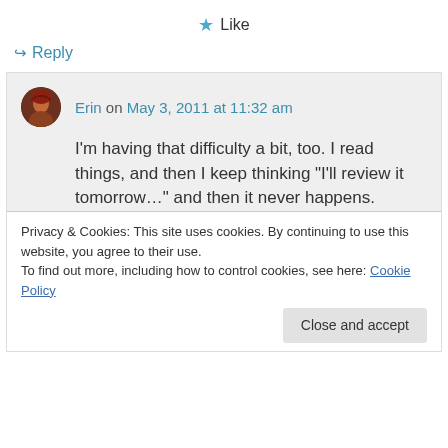★ Like
↪ Reply
Erin on May 3, 2011 at 11:32 am
I'm having that difficulty a bit, too. I read things, and then I keep thinking "I'll review it tomorrow…" and then it never happens.
It is bad that my laptop died, but I got an even shinier desktop out of the deal, so I'm
Privacy & Cookies: This site uses cookies. By continuing to use this website, you agree to their use.
To find out more, including how to control cookies, see here: Cookie Policy
Close and accept